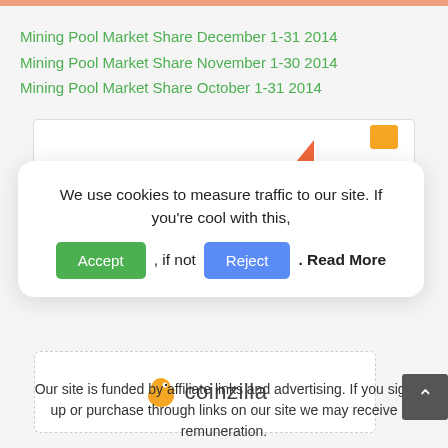Mining Pool Market Share December 1-31 2014
Mining Pool Market Share November 1-30 2014
Mining Pool Market Share October 1-31 2014
[Figure (other): Partial ad banner with orange triangle graphic and small orange icon, partially obscured by cookie consent modal]
We use cookies to measure traffic to our site. If you're cool with this, Accept , if not Reject . Read More
[Figure (logo): Coinzilla logo with orange cartoon fish mascot and 'coinzilla' text]
Our site is funded by affiliate links and advertising. If you sign up or purchase through links on our site we may receive remuneration.